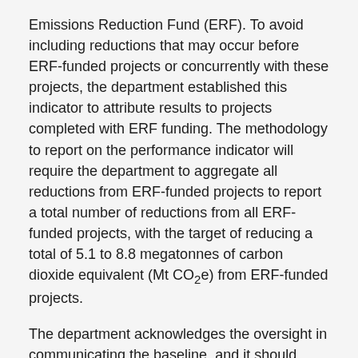Emissions Reduction Fund (ERF). To avoid including reductions that may occur before ERF-funded projects or concurrently with these projects, the department established this indicator to attribute results to projects completed with ERF funding. The methodology to report on the performance indicator will require the department to aggregate all reductions from ERF-funded projects to report a total number of reductions from all ERF-funded projects, with the target of reducing a total of 5.1 to 8.8 megatonnes of carbon dioxide equivalent (Mt CO₂e) from ERF-funded projects.
The department acknowledges the oversight in communicating the baseline, and it should have been established at zero. Adjusting the baseline is important, as it will allow for an assessment of the Onshore Program to be conducted once the program has concluded, to validate the accuracy of the department's estimates in establishing reduction targets.
The department will